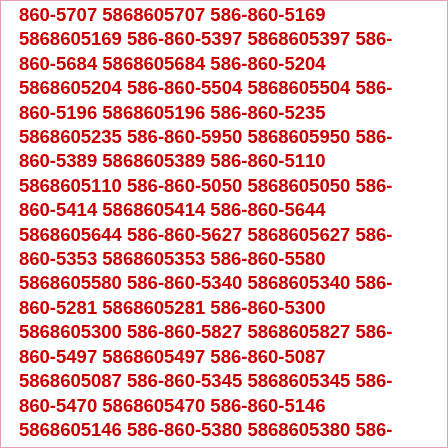860-5707 5868605707 586-860-5169 5868605169 586-860-5397 5868605397 586-860-5684 5868605684 586-860-5204 5868605204 586-860-5504 5868605504 586-860-5196 5868605196 586-860-5235 5868605235 586-860-5950 5868605950 586-860-5389 5868605389 586-860-5110 5868605110 586-860-5050 5868605050 586-860-5414 5868605414 586-860-5644 5868605644 586-860-5627 5868605627 586-860-5353 5868605353 586-860-5580 5868605580 586-860-5340 5868605340 586-860-5281 5868605281 586-860-5300 5868605300 586-860-5827 5868605827 586-860-5497 5868605497 586-860-5087 5868605087 586-860-5345 5868605345 586-860-5470 5868605470 586-860-5146 5868605146 586-860-5380 5868605380 586-860-5083 5868605083 586-860-5593 5868605593 586-860-5647 5868605647 586-860-5407 5868605407 586-860-5173 5868605173 586-860-5036 5868605036 586-